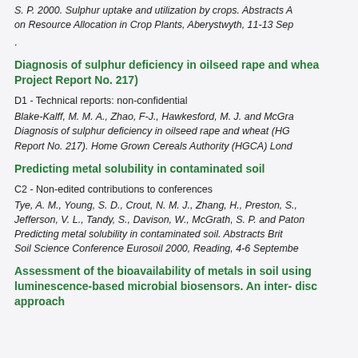S. P. 2000. Sulphur uptake and utilization by crops. Abstracts A... on Resource Allocation in Crop Plants, Aberystwyth, 11-13 Sep...
.
Diagnosis of sulphur deficiency in oilseed rape and whea... Project Report No. 217)
D1 - Technical reports: non-confidential
Blake-Kalff, M. M. A., Zhao, F-J., Hawkesford, M. J. and McGra...
Diagnosis of sulphur deficiency in oilseed rape and wheat (HG... Report No. 217). Home Grown Cereals Authority (HGCA) Lond...
Predicting metal solubility in contaminated soil
C2 - Non-edited contributions to conferences
Tye, A. M., Young, S. D., Crout, N. M. J., Zhang, H., Preston, S., Jefferson, V. L., Tandy, S., Davison, W., McGrath, S. P. and Pato... Predicting metal solubility in contaminated soil. Abstracts Brit... Soil Science Conference Eurosoil 2000, Reading, 4-6 Septembe...
Assessment of the bioavailability of metals in soil using luminescence-based microbial biosensors. An inter- disc... approach